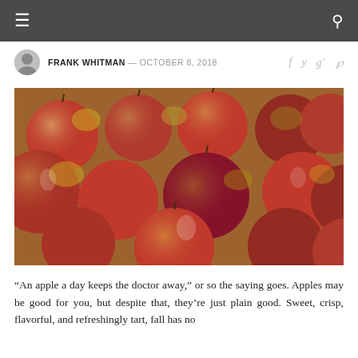≡  🔍
FRANK WHITMAN — OCTOBER 8, 2018
[Figure (photo): A box of fresh red and yellow apples piled together in a cardboard crate]
“An apple a day keeps the doctor away,” or so the saying goes. Apples may be good for you, but despite that, they’re just plain good. Sweet, crisp, flavorful, and refreshingly tart, fall has no better...